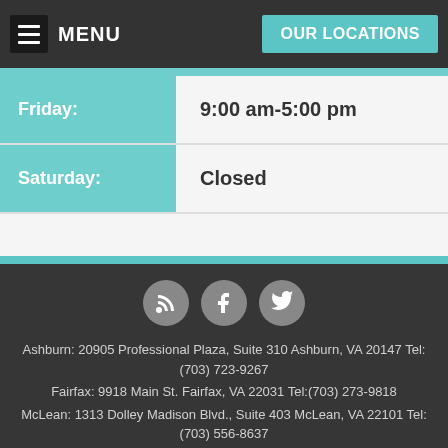MENU | OUR LOCATIONS
| Day | Hours |
| --- | --- |
| Friday: | 9:00 am-5:00 pm |
| Saturday: | Closed |
[Figure (infographic): Social media icons: RSS feed, Facebook, Twitter]
Ashburn: 20905 Professional Plaza, Suite 310 Ashburn, VA 20147 Tel:(703) 723-9267 Fairfax: 9918 Main St. Fairfax, VA 22031 Tel:(703) 273-9818 McLean: 1313 Dolley Madison Blvd., Suite 403 McLean, VA 22101 Tel:(703) 556-8637 Reston: 1760 Reston Pkwy., Suite 310 Reston, VA 20190 Tel:(703) 723-2719